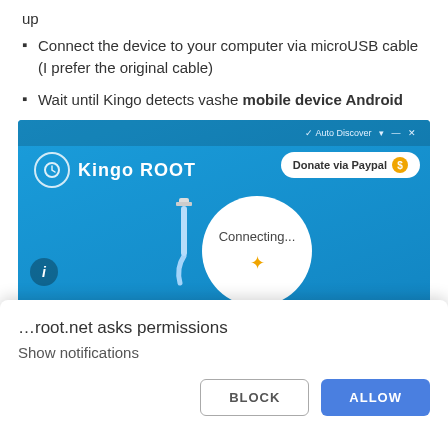up
Connect the device to your computer via microUSB cable (I prefer the original cable)
Wait until Kingo detects vashe mobile device Android
[Figure (screenshot): Screenshot of Kingo ROOT application showing a 'Connecting...' screen with a USB cable icon and a circular connecting animation on a blue background, with a 'Donate via Paypal' button in the top right.]
…root.net asks permissions
Show notifications